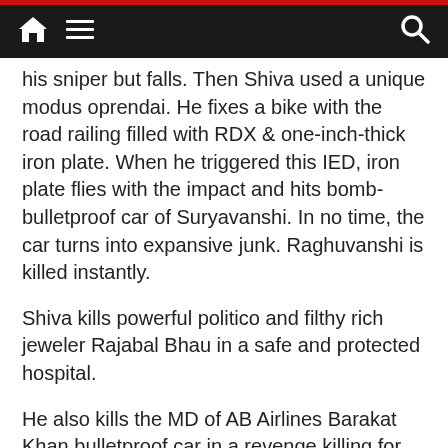Navigation bar with home, menu, and search icons
his sniper but falls. Then Shiva used a unique modus oprendai. He fixes a bike with the road railing filled with RDX & one-inch-thick iron plate. When he triggered this IED, iron plate flies with the impact and hits bomb-bulletproof car of Suryavanshi. In no time, the car turns into expansive junk. Raghuvanshi is killed instantly.
Shiva kills powerful politico and filthy rich jeweler Rajabal Bhau in a safe and protected hospital.
He also kills the MD of AB Airlines Barakat Khan bulletproof car in a revenge killing for mafia.
Don Sudesh Manchekar is killed by Shiva breaking his bulletproof glass windows and throwing 3 petrol bombs in the running car.